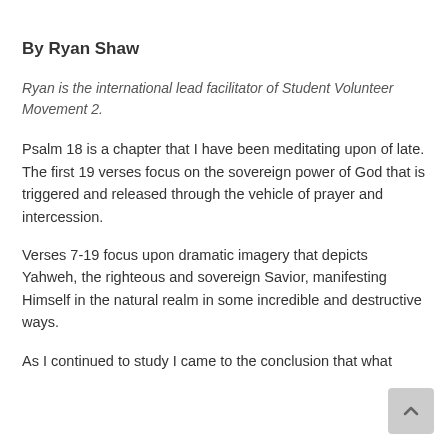By Ryan Shaw
Ryan is the international lead facilitator of Student Volunteer Movement 2.
Psalm 18 is a chapter that I have been meditating upon of late. The first 19 verses focus on the sovereign power of God that is triggered and released through the vehicle of prayer and intercession.
Verses 7-19 focus upon dramatic imagery that depicts Yahweh, the righteous and sovereign Savior, manifesting Himself in the natural realm in some incredible and destructive ways.
As I continued to study I came to the conclusion that what